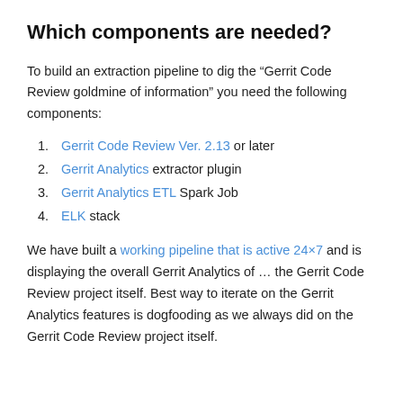Which components are needed?
To build an extraction pipeline to dig the “Gerrit Code Review goldmine of information” you need the following components:
1. Gerrit Code Review Ver. 2.13 or later
2. Gerrit Analytics extractor plugin
3. Gerrit Analytics ETL Spark Job
4. ELK stack
We have built a working pipeline that is active 24×7 and is displaying the overall Gerrit Analytics of … the Gerrit Code Review project itself. Best way to iterate on the Gerrit Analytics features is dogfooding as we always did on the Gerrit Code Review project itself.